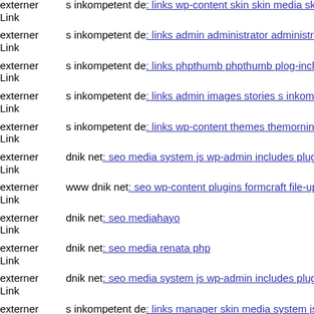externer Link  s inkompetent de: links wp-content skin skin media skin do...
externer Link  s inkompetent de: links admin administrator administrator c...
externer Link  s inkompetent de: links phpthumb phpthumb plog-includes...
externer Link  s inkompetent de: links admin images stories s inkompetent...
externer Link  s inkompetent de: links wp-content themes themorningafter...
externer Link  dnik net: seo media system js wp-admin includes plugins co...
externer Link  www dnik net: seo wp-content plugins formcraft file-upload...
externer Link  dnik net: seo mediahayo
externer Link  dnik net: seo media renata php
externer Link  dnik net: seo media system js wp-admin includes plugins co...
externer Link  s inkompetent de: links manager skin media system js imag...